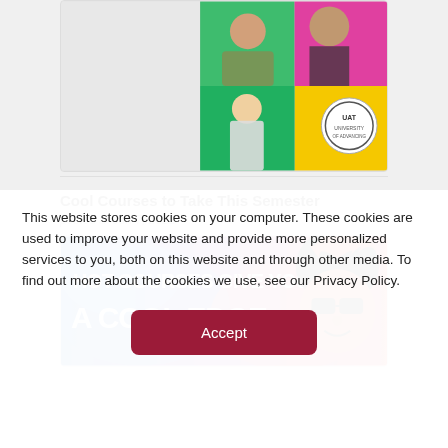[Figure (photo): Colorful collage of students/people with UAT logo, green, pink, yellow backgrounds]
Cool Courses to Take This Semester
posted at Jun 7, 2022
[Figure (illustration): Promotional banner: HOT COURSES GIVE YOU A COOL EDGE with stylized face illustration on red/blue background]
This website stores cookies on your computer. These cookies are used to improve your website and provide more personalized services to you, both on this website and through other media. To find out more about the cookies we use, see our Privacy Policy.